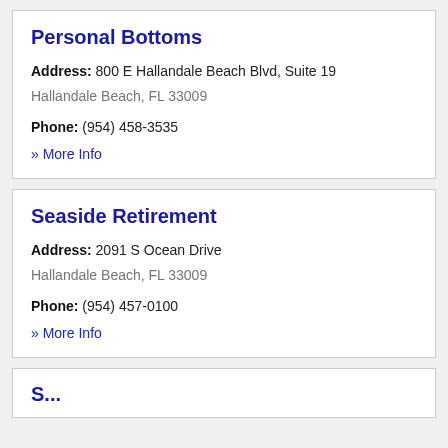Personal Bottoms
Address: 800 E Hallandale Beach Blvd, Suite 19
Hallandale Beach, FL 33009
Phone: (954) 458-3535
» More Info
Seaside Retirement
Address: 2091 S Ocean Drive
Hallandale Beach, FL 33009
Phone: (954) 457-0100
» More Info
S...